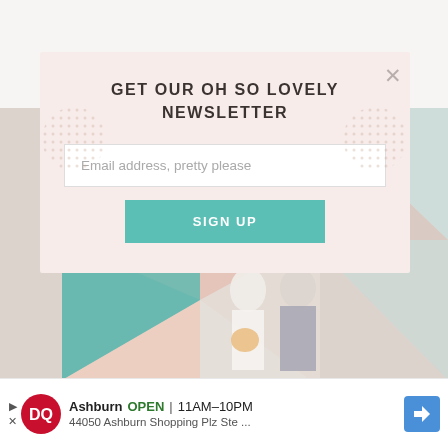[Figure (photo): Wedding couple standing in front of a colorful geometric mural wall. Bride in white dress holding bouquet, groom in gray suit with blue tie.]
GET OUR OH SO LOVELY NEWSLETTER
Email address, pretty please
SIGN UP
[Figure (infographic): Advertisement bar: Dairy Queen - Ashburn OPEN 11AM-10PM, 44050 Ashburn Shopping Plz Ste ...]